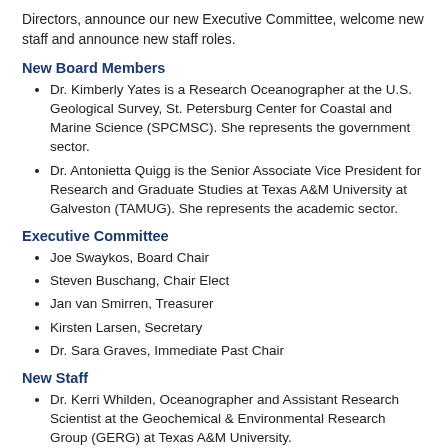Directors, announce our new Executive Committee, welcome new staff and announce new staff roles.
New Board Members
Dr. Kimberly Yates is a Research Oceanographer at the U.S. Geological Survey, St. Petersburg Center for Coastal and Marine Science (SPCMSC). She represents the government sector.
Dr. Antonietta Quigg is the Senior Associate Vice President for Research and Graduate Studies at Texas A&M University at Galveston (TAMUG). She represents the academic sector.
Executive Committee
Joe Swaykos, Board Chair
Steven Buschang, Chair Elect
Jan van Smirren, Treasurer
Kirsten Larsen, Secretary
Dr. Sara Graves, Immediate Past Chair
New Staff
Dr. Kerri Whilden, Oceanographer and Assistant Research Scientist at the Geochemical & Environmental Research Group (GERG) at Texas A&M University.
Stephanie Watson, Coordinator of the Compilation of Environmental, Threats, and Animal Data for Cetacean